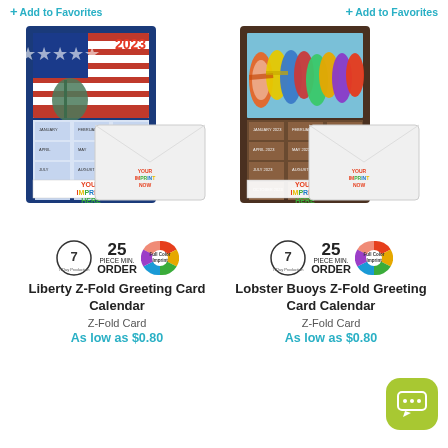+ Add to Favorites
+ Add to Favorites
[Figure (illustration): Liberty Z-Fold Greeting Card Calendar product image showing a patriotic calendar with Statue of Liberty and US flag, with an envelope insert]
[Figure (illustration): Lobster Buoys Z-Fold Greeting Card Calendar product image showing colorful lobster buoys, with an envelope insert]
[Figure (infographic): Product badges: 7-day production clock icon, 25 PIECE MIN. ORDER, Full Color Imprint color wheel]
[Figure (infographic): Product badges: 7-day production clock icon, 25 PIECE MIN. ORDER, Full Color Imprint color wheel]
Liberty Z-Fold Greeting Card Calendar
Lobster Buoys Z-Fold Greeting Card Calendar
Z-Fold Card
Z-Fold Card
As low as $0.80
As low as $0.80